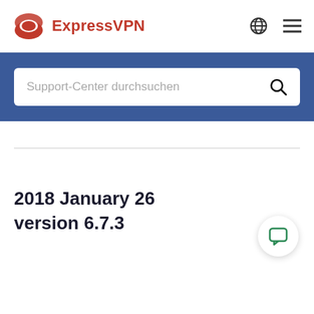[Figure (logo): ExpressVPN logo with red icon and red bold text 'ExpressVPN']
Support-Center durchsuchen
2018 January 26
version 6.7.3